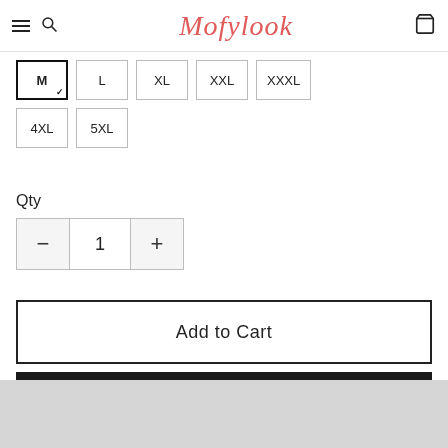Mofylook
M (selected), L, XL, XXL, XXXL, 4XL, 5XL
Qty
- 1 +
Add to Cart
Buy Now